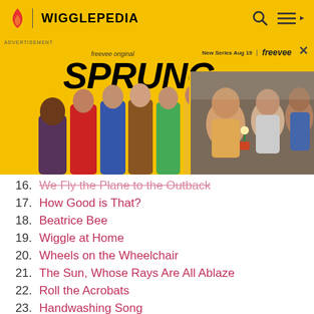WIGGLEPEDIA
[Figure (screenshot): Advertisement banner for Freevee Original series 'SPRUNG' with characters and a car scene photo on the right]
16. We Fly the Plane to the Outback
17. How Good is That?
18. Beatrice Bee
19. Wiggle at Home
20. Wheels on the Wheelchair
21. The Sun, Whose Rays Are All Ablaze
22. Roll the Acrobats
23. Handwashing Song